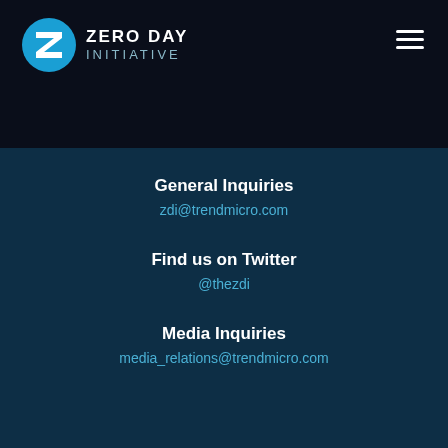[Figure (logo): Zero Day Initiative logo — circular blue Z icon with 'ZERO DAY INITIATIVE' text]
General Inquiries
zdi@trendmicro.com
Find us on Twitter
@thezdi
Media Inquiries
media_relations@trendmicro.com